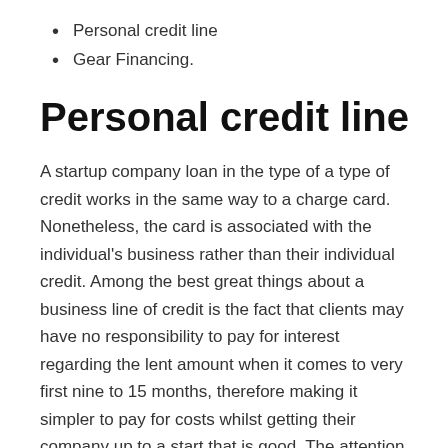Personal credit line
Gear Financing.
Personal credit line
A startup company loan in the type of a type of credit works in the same way to a charge card. Nonetheless, the card is associated with the individual’s business rather than their individual credit. Among the best great things about a business line of credit is the fact that clients may have no responsibility to pay for interest regarding the lent amount when it comes to very first nine to 15 months, therefore making it simpler to pay for costs whilst getting their company up to a start that is good. The attention following the duration will anywhere rise to between 7.9% and 19.9%, nevertheless the consumer will simply need to pay interest from the sum they normally use (just like credit